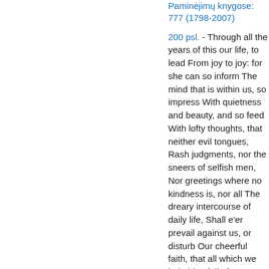Paminėjimų knygose: 777 (1798-2007)
200 psl. - Through all the years of this our life, to lead From joy to joy: for she can so inform The mind that is within us, so impress With quietness and beauty, and so feed With lofty thoughts, that neither evil tongues, Rash judgments, nor the sneers of selfish men, Nor greetings where no kindness is, nor all The dreary intercourse of daily life, Shall e'er prevail against us, or disturb Our cheerful faith, that all which we behold Is full of blessings.
Paminėjimų knygose: